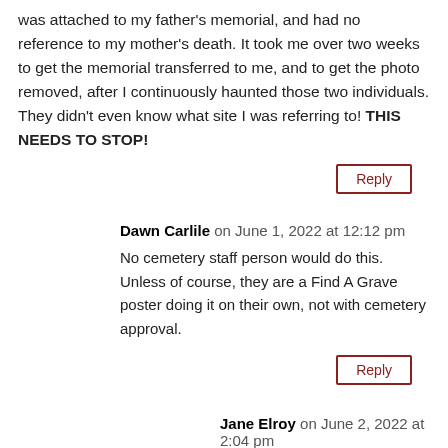was attached to my father's memorial, and had no reference to my mother's death. It took me over two weeks to get the memorial transferred to me, and to get the photo removed, after I continuously haunted those two individuals. They didn't even know what site I was referring to! THIS NEEDS TO STOP!
Reply
Dawn Carlile on June 1, 2022 at 12:12 pm
No cemetery staff person would do this. Unless of course, they are a Find A Grave poster doing it on their own, not with cemetery approval.
Reply
Jane Elroy on June 2, 2022 at 2:04 pm
Dawn Carlile, there are small rural